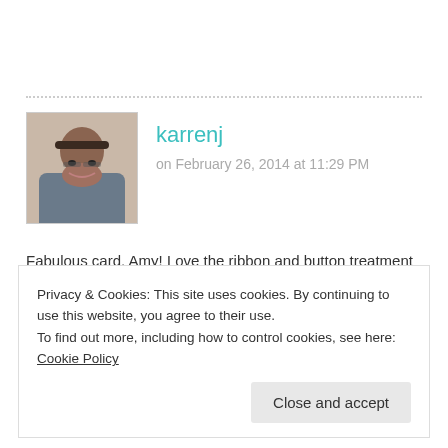[Figure (photo): Avatar photo of commenter karrenj, a woman with short dark hair and glasses]
karrenj
on February 26, 2014 at 11:29 PM
Fabulous card, Amy! Love the ribbon and button treatment – very clever! I can sympathize over your packing trials! I'm about to start packing up our whole house so our earthquake repairs can be done and I'm so not looking forward to it!
Privacy & Cookies: This site uses cookies. By continuing to use this website, you agree to their use.
To find out more, including how to control cookies, see here: Cookie Policy